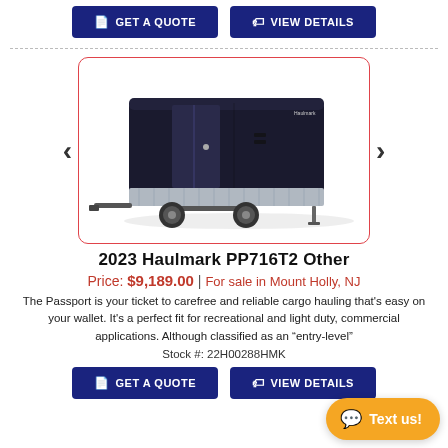[Figure (other): Two blue buttons: 'GET A QUOTE' and 'VIEW DETAILS']
[Figure (photo): Black Haulmark enclosed cargo trailer (dual axle) with open rear door, on white background, inside a red-bordered carousel image box with left and right navigation arrows.]
2023 Haulmark PP716T2 Other
Price: $9,189.00 | For sale in Mount Holly, NJ
The Passport is your ticket to carefree and reliable cargo hauling that's easy on your wallet. It's a perfect fit for recreational and light duty, commercial applications. Although classified as an "entry-level"
Stock #: 22H00288HMK
[Figure (other): Two blue buttons: 'GET A QUOTE' and 'VIEW DETAILS' at the bottom of the listing]